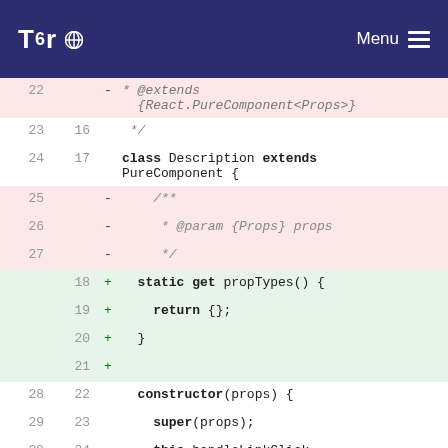Tor | Menu
[Figure (screenshot): Code diff view showing changes to a JavaScript file with line numbers, removed lines (pink background) and added lines (green background). Removed lines include JSDoc comments and added lines include a static get propTypes() method.]